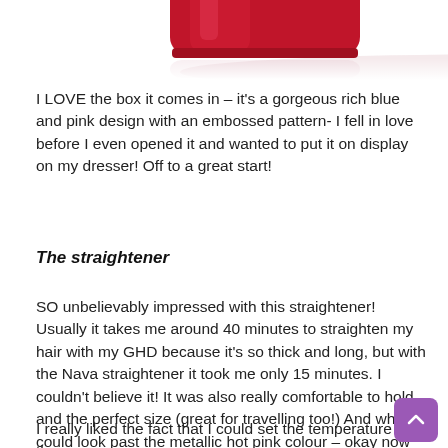[Figure (photo): Partial image of a hair straightener product, red/crimson colored device visible at top of page with a reflection below it on white background.]
I LOVE the box it comes in – it's a gorgeous rich blue and pink design with an embossed pattern- I fell in love before I even opened it and wanted to put it on display on my dresser! Off to a great start!
The straightener
SO unbelievably impressed with this straightener! Usually it takes me around 40 minutes to straighten my hair with my GHD because it's so thick and long, but with the Nava straightener it took me only 15 minutes. I couldn't believe it! It was also really comfortable to hold and the perfect size (great for travelling too!) And who could look past the metallic hot pink colour – okay now I've really fallen in love!
I really liked the fact that I could set the temperature on the